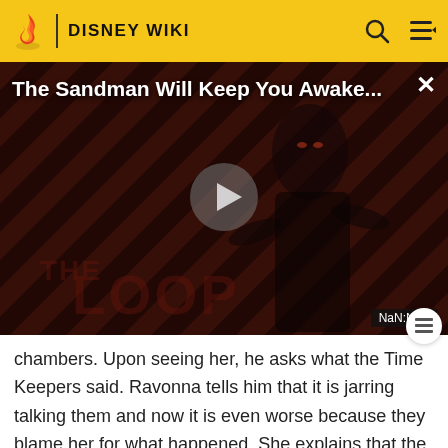DISNEY WIKI
[Figure (screenshot): Video player showing 'The Sandman Will Keep You Awake...' with a dark figure in black against a red diagonal stripe background, play button in center, THE LOOP logo watermark, NaN:NaN time display, and close X button.]
chambers. Upon seeing her, he asks what the Time Keepers said. Ravonna tells him that it is jarring talking them and now it is even worse because they blame her for what happened. She explains that the Variant invaded their headquarters and could have gotten to the Time Keepers. Everyone was rattled. It is the...